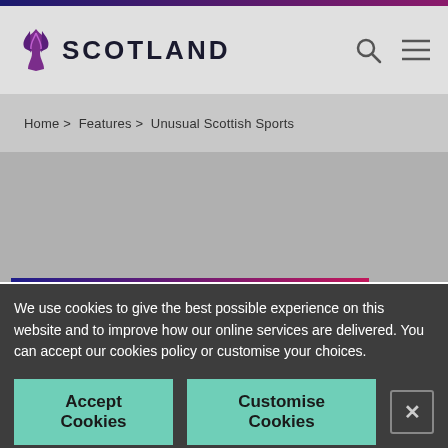SCOTLAND
Home > Features > Unusual Scottish Sports
We use cookies to give the best possible experience on this website and to improve how our online services are delivered. You can accept our cookies policy or customise your choices.
Accept Cookies
Customise Cookies